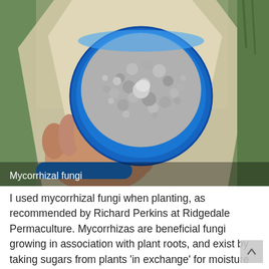[Figure (photo): A hand holding a blue measuring scoop filled with granular mycorrhizal fungi powder/granules, positioned over an open paper bag, with green grass visible in the background.]
Mycorrhizal fungi
I used mycorrhizal fungi when planting, as recommended by Richard Perkins at Ridgedale Permaculture. Mycorrhizas are beneficial fungi growing in association with plant roots, and exist by taking sugars from plants 'in exchange' for moisture and nutrients gathered from the soil by the fungal strands. The mycorrhizas greatly increase the absorptive area